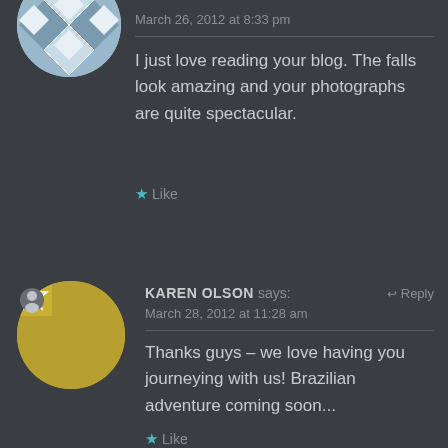[Figure (illustration): Circular avatar with blue/white geometric diamond pattern, partially cropped at top]
March 26, 2012 at 8:33 pm
I just love reading your blog. The falls look amazing and your photographs are quite spectacular.
★ Like
[Figure (illustration): Circular avatar with yellow/white geometric star pattern, with a small person icon badge overlay]
KAREN OLSON says:
↩ Reply
March 28, 2012 at 11:28 am
Thanks guys – we love having you journeying with us! Brazilian adventure coming soon...
★ Like